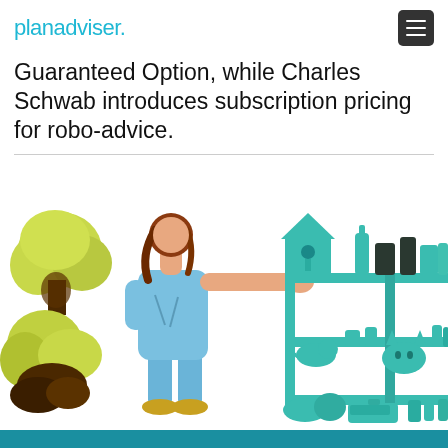planadviser.
Guaranteed Option, while Charles Schwab introduces subscription pricing for robo-advice.
[Figure (illustration): Illustrated scene of a woman in blue overalls reaching toward a birdhouse on a shelf. The shelves contain various teal-colored objects including bottles, a bird figurine, and a cat figurine. Yellow-green foliage trees are visible on the left side with dark brown trunks. The illustration uses a limited color palette of teal, yellow-green, brown, and light blue.]